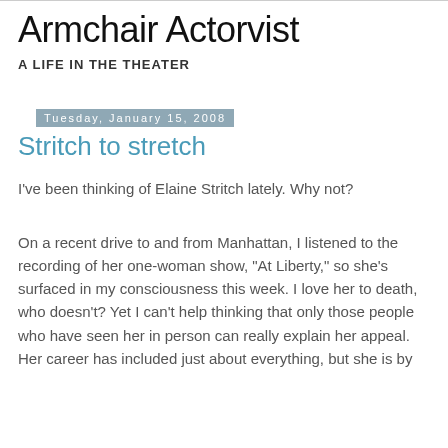Armchair Actorvist
A LIFE IN THE THEATER
Tuesday, January 15, 2008
Stritch to stretch
I've been thinking of Elaine Stritch lately. Why not?
On a recent drive to and from Manhattan, I listened to the recording of her one-woman show, "At Liberty," so she's surfaced in my consciousness this week. I love her to death, who doesn't? Yet I can't help thinking that only those people who have seen her in person can really explain her appeal. Her career has included just about everything, but she is by